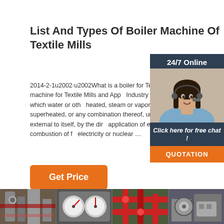List And Types Of Boiler Machine Of Textile Mills
2014-2-1u2002·u2002What is a boiler for Textile Mills? List of boiler machine for Textile Mills and Apparel Industry is closed vessel in which water or other liquid is heated, steam or vapor is generated, steam is superheated, or any combination thereof, under pressure or vacuum, for use external to itself, by the direct application of energy from the combustion of fuels, electricity or nuclear …
[Figure (illustration): Sidebar widget with '24/7 Online' header, photo of woman with headset, 'Click here for free chat!' text, and orange QUOTATION button]
[Figure (photo): Four industrial boiler/pipe machinery photos in a horizontal strip at the bottom of the page]